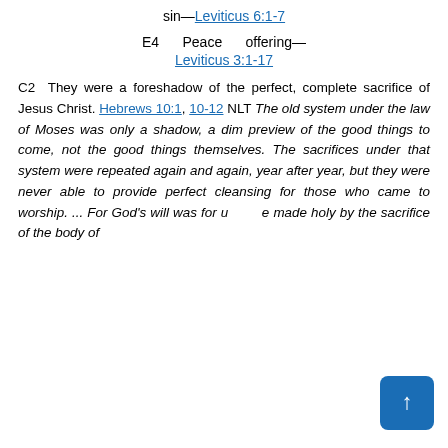sin—Leviticus 6:1-7
E4   Peace   offering—Leviticus 3:1-17
C2 They were a foreshadow of the perfect, complete sacrifice of Jesus Christ. Hebrews 10:1, 10-12 NLT The old system under the law of Moses was only a shadow, a dim preview of the good things to come, not the good things themselves. The sacrifices under that system were repeated again and again, year after year, but they were never able to provide perfect cleansing for those who came to worship. ... For God's will was for us to be made holy by the sacrifice of the body of